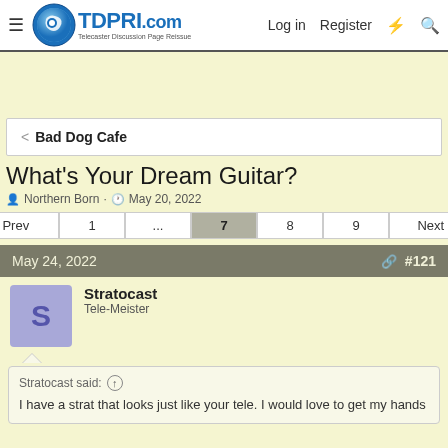TDPRI.com — Telecaster Discussion Page Reissue | Log in | Register
< Bad Dog Cafe
What's Your Dream Guitar?
Northern Born · May 20, 2022
Pagination: Prev 1 ... 7 8 9 Next
May 24, 2022 #121
Stratocast
Tele-Meister
Stratocast said: ↑
I have a strat that looks just like your tele. I would love to get my hands